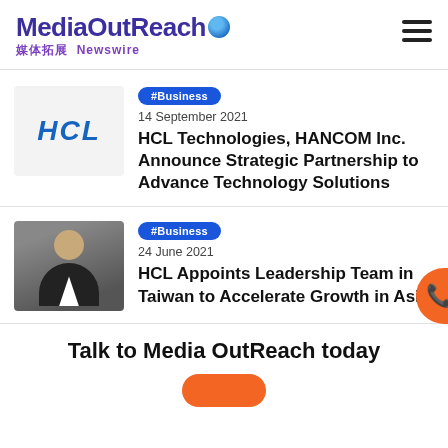MediaOutReach 媒体拓展 Newswire
[Figure (logo): HCL Technologies logo in blue italic text on white background]
#Business
14 September 2021
HCL Technologies, HANCOM Inc. Announce Strategic Partnership to Advance Technology Solutions
[Figure (photo): Portrait photo of a man in a dark suit against a grey background]
#Business
24 June 2021
HCL Appoints Leadership Team in Taiwan to Accelerate Growth in Asia
Talk to Media OutReach today